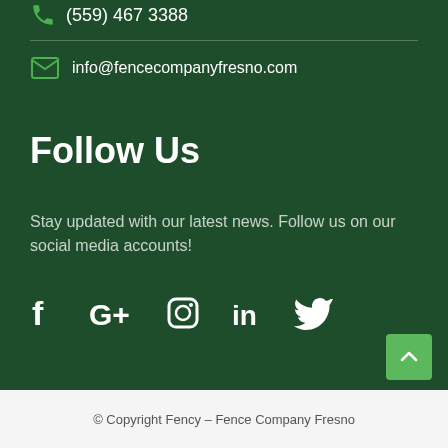(559) 467 3388
info@fencecompanyfresno.com
Follow Us
Stay updated with our latest news. Follow us on our social media accounts!
[Figure (infographic): Social media icons: Facebook, Google+, Instagram, LinkedIn, Twitter]
© Copyright Fency – Fence Company Fresno